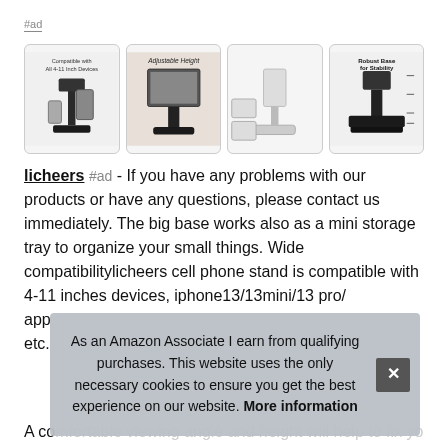#ad
[Figure (photo): Four product images of a phone/tablet stand showing compatibility with 4-11 inch devices, adjustable height feature, white model, and robust base for stability.]
licheers #ad - If you have any problems with our products or have any questions, please contact us immediately. The big base works also as a mini storage tray to organize your small things. Wide compatibilitylicheers cell phone stand is compatible with 4-11 inches devices, iphone13/13mini/13 pro/ app etc.
A comfortable viewing angle and height will help to fix your
As an Amazon Associate I earn from qualifying purchases. This website uses the only necessary cookies to ensure you get the best experience on our website. More information